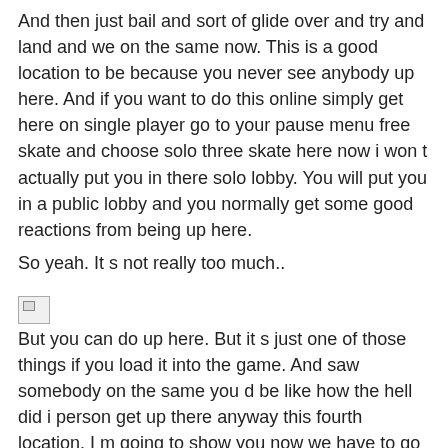And then just bail and sort of glide over and try and land and we on the same now. This is a good location to be because you never see anybody up here. And if you want to do this online simply get here on single player go to your pause menu free skate and choose solo three skate here now i won t actually put you in there solo lobby. You will put you in a public lobby and you normally get some good reactions from being up here.
So yeah. It s not really too much..
[Figure (other): Broken/missing image placeholder icon]
But you can do up here. But it s just one of those things if you load it into the game. And saw somebody on the same you d be like how the hell did i person get up there anyway this fourth location. I m going to show you now we have to go to the downtown walmart now this was actually found by helix snake.